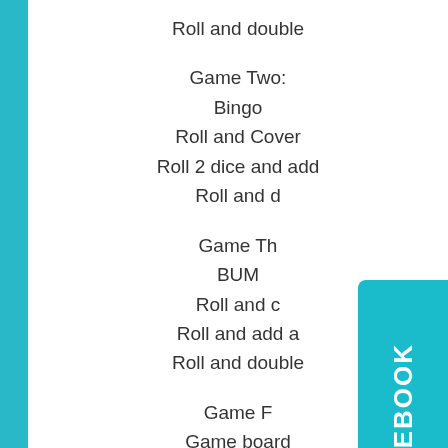Roll and double
Game Two:
Bingo
Roll and Cover
Roll 2 dice and add
Roll and d...
Game Th...
BUM...
Roll and c...
Roll and add a...
Roll and double...
Game F...
Game board
Spin and move
Spin and double
Spin, Spin again, Ad...
Game Five:
[Figure (other): Facebook badge/watermark overlaying the right side of the page]